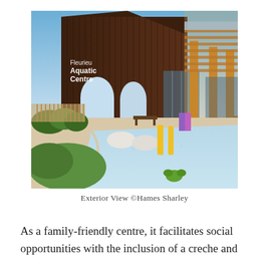[Figure (photo): Exterior view of Fleurieu Aquatic Centre showing the building facade with dark wood cladding, a pergola structure with wooden posts, outdoor splash pad area with blue surface, white sculptural seating, yellow bollards, green landscaping with shrubs and lawn, and orange circular play element.]
Exterior View ©Hames Sharley
As a family-friendly centre, it facilitates social opportunities with the inclusion of a creche and